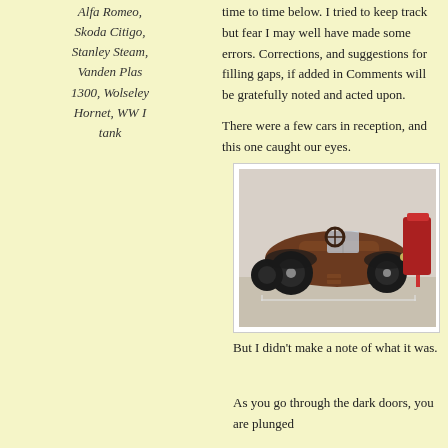Alfa Romeo, Skoda Citigo, Stanley Steam, Vanden Plas 1300, Wolseley Hornet, WW I tank
time to time below. I tried to keep track but fear I may well have made some errors. Corrections, and suggestions for filling gaps, if added in Comments will be gratefully noted and acted upon.
There were a few cars in reception, and this one caught our eyes.
[Figure (photo): A vintage brown open-top car (roadster) displayed on a museum floor, with large black tires and a windshield, photographed in a museum or showroom setting. A red display stand is visible in the background.]
But I didn’t make a note of what it was.
As you go through the dark doors, you are plunged